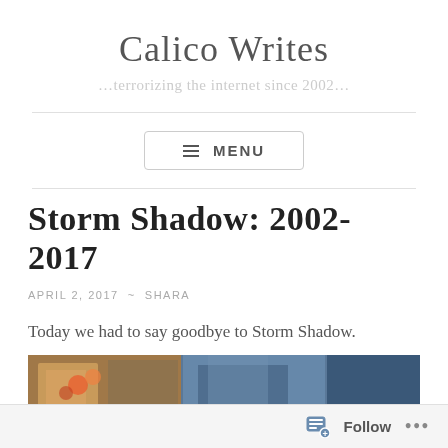Calico Writes
…terrorizing the internet since 2002…
≡ MENU
Storm Shadow: 2002-2017
APRIL 2, 2017  ~  SHARA
Today we had to say goodbye to Storm Shadow.
[Figure (photo): A partial photo strip showing what appears to be flowers and a person in blue, partially visible.]
Follow  •••